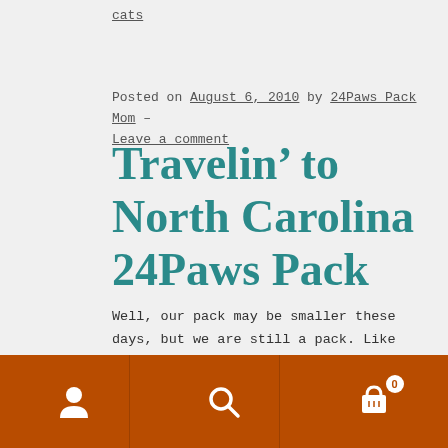cats
Posted on August 6, 2010 by 24Paws Pack Mom — Leave a comment
Travelin’ to North Carolina 24Paws Pack
Well, our pack may be smaller these days, but we are still a pack. Like all good packs, we travel together. Here are some photos as we left Illinois.
[Figure (photo): Partial photo strip showing vehicle interiors as pack leaves Illinois]
[Figure (infographic): Mobile app toolbar with brown background containing user icon, search icon, and shopping cart icon with badge showing 0]